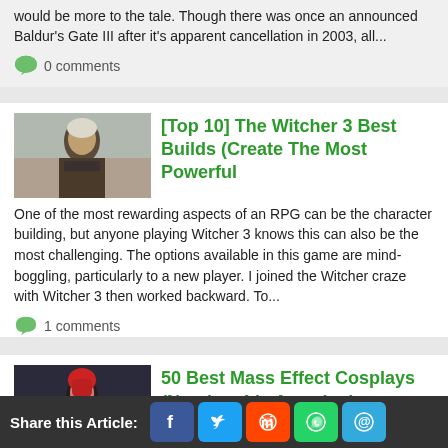would be more to the tale. Though there was once an announced Baldur's Gate III after it's apparent cancellation in 2003, all...
0 comments
[Top 10] The Witcher 3 Best Builds (Create The Most Powerful
[Figure (photo): The Witcher 3 character (Geralt) portrait in armor, grey-haired man with serious expression, outdoor background]
One of the most rewarding aspects of an RPG can be the character building, but anyone playing Witcher 3 knows this can also be the most challenging. The options available in this game are mind-boggling, particularly to a new player. I joined the Witcher craze with Witcher 3 then worked backward. To...
1 comments
50 Best Mass Effect Cosplays (Number 4 is Amazing)
[Figure (photo): Mass Effect cosplay - woman with red hair and N7 armor]
There are no cosplays like these! Have you been looking for Mass Effect cosplays? There are a lot of
Share this Article: